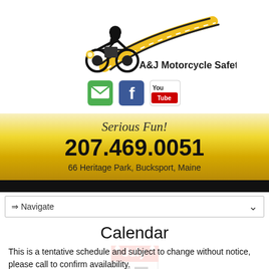[Figure (logo): A&J Motorcycle Safety School logo with motorcycle rider silhouette on a winding road with yellow lines, company name to the right]
[Figure (infographic): Three social media icons: green email/envelope icon, Facebook icon (blue with white f), YouTube icon (white background with YouTube logo)]
Serious Fun!
207.469.0051
66 Heritage Park, Bucksport, Maine
Calendar
This is a tentative schedule and subject to change without notice, please call to confirm availability.